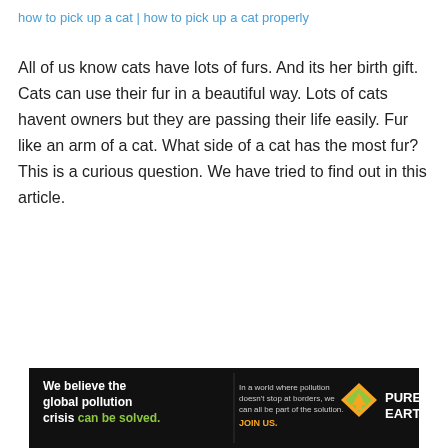how to pick up a cat | how to pick up a cat properly
All of us know cats have lots of furs. And its her birth gift. Cats can use their fur in a beautiful way. Lots of cats havent owners but they are passing their life easily. Fur like an arm of a cat. What side of a cat has the most fur? This is a curious question. We have tried to find out in this article.
[Figure (infographic): Advertisement banner for Pure Earth. Left section in black background: bold white text 'We believe the global pollution crisis can be solved.' with 'can be solved.' in green. Middle section: small white/grey text 'In a world where pollution doesn't stop at borders, we can all be part of the solution.' with yellow 'JOIN US.' Right section: Pure Earth logo with orange/yellow diamond shape and stacked green bars, white text 'PURE EARTH'.]